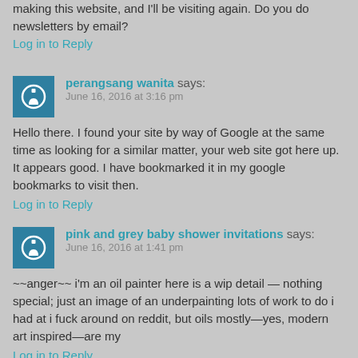making this website, and I'll be visiting again. Do you do newsletters by email?
Log in to Reply
perangsang wanita says: June 16, 2016 at 3:16 pm
Hello there. I found your site by way of Google at the same time as looking for a similar matter, your web site got here up. It appears good. I have bookmarked it in my google bookmarks to visit then.
Log in to Reply
pink and grey baby shower invitations says: June 16, 2016 at 1:41 pm
~~anger~~ i'm an oil painter here is a wip detail — nothing special; just an image of an underpainting lots of work to do i had at i fuck around on reddit, but oils mostly—yes, modern art inspired—are my
Log in to Reply
perangsang wanita says: